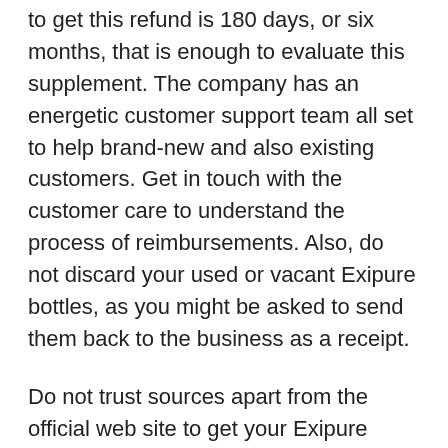to get this refund is 180 days, or six months, that is enough to evaluate this supplement. The company has an energetic customer support team all set to help brand-new and also existing customers. Get in touch with the customer care to understand the process of reimbursements. Also, do not discard your used or vacant Exipure bottles, as you might be asked to send them back to the business as a receipt.
Do not trust sources apart from the official web site to get your Exipure order as this reimbursement policy does not use on containers bought from unapproved sources. The refund requests obtained after passing this 180-day restriction will be declined by the company, so maintain a track of this time.